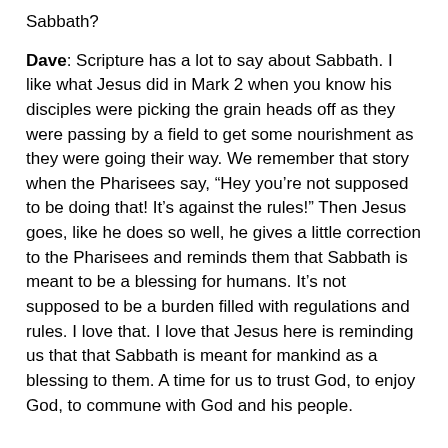Sabbath?
Dave: Scripture has a lot to say about Sabbath. I like what Jesus did in Mark 2 when you know his disciples were picking the grain heads off as they were passing by a field to get some nourishment as they were going their way. We remember that story when the Pharisees say, “Hey you’re not supposed to be doing that! It’s against the rules!” Then Jesus goes, like he does so well, he gives a little correction to the Pharisees and reminds them that Sabbath is meant to be a blessing for humans. It’s not supposed to be a burden filled with regulations and rules. I love that. I love that Jesus here is reminding us that that Sabbath is meant for mankind as a blessing to them. A time for us to trust God, to enjoy God, to commune with God and his people.